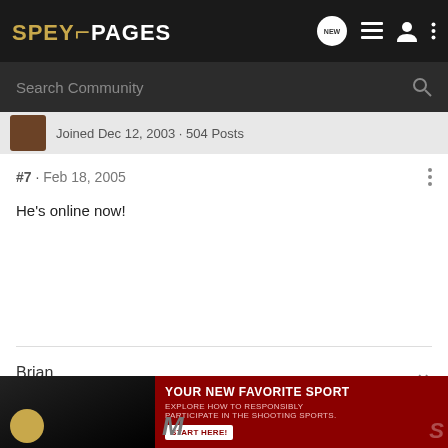SPEYPAGES
Search Community
Joined Dec 12, 2003 · 504 Posts
#7 · Feb 18, 2005
He's online now!
Brian
[Figure (infographic): Advertisement banner: YOUR NEW FAVORITE SPORT - EXPLORE HOW TO RESPONSIBLY PARTICIPATE IN THE SHOOTING SPORTS. START HERE!]